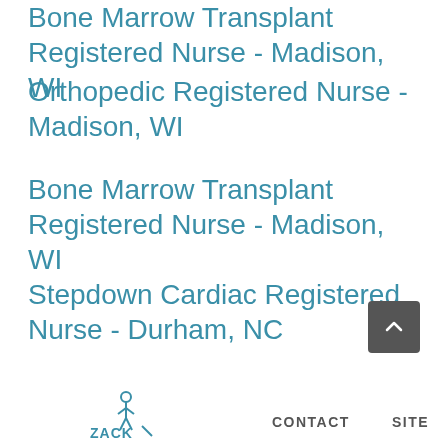Bone Marrow Transplant Registered Nurse - Madison, WI
Orthopedic Registered Nurse - Madison, WI
Bone Marrow Transplant Registered Nurse - Madison, WI
Stepdown Cardiac Registered Nurse - Durham, NC
ZACK [logo] CONTACT SITE